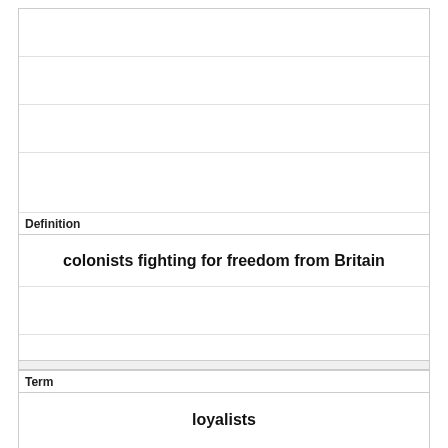| Definition |
| --- |
| colonists fighting for freedom from Britain |
|  |
|  |
|  |
|  |
|  |
|  |
|  |
| Term |
| --- |
| loyalists |